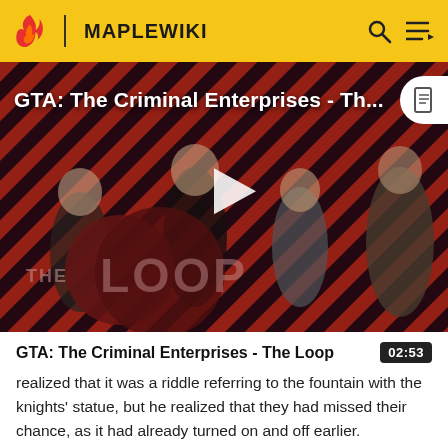MAPLEWIKI
[Figure (screenshot): GTA: The Criminal Enterprises - The Loop video thumbnail with striped red/dark background, four game characters, play button overlay, and The Loop logo badge]
GTA: The Criminal Enterprises - The Loop
02:53
realized that it was a riddle referring to the fountain with the knights' statue, but he realized that they had missed their chance, as it had already turned on and off earlier.